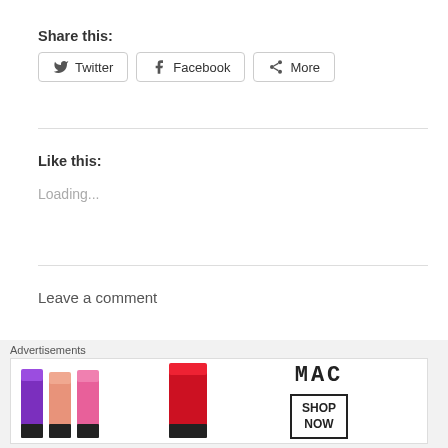Share this:
Twitter   Facebook   More
Like this:
Loading...
Leave a comment
[Figure (screenshot): Partial text of a heading cut off at bottom]
Advertisements
[Figure (photo): MAC cosmetics advertisement showing lipsticks in purple, pink, coral colors with MAC logo and SHOP NOW button]